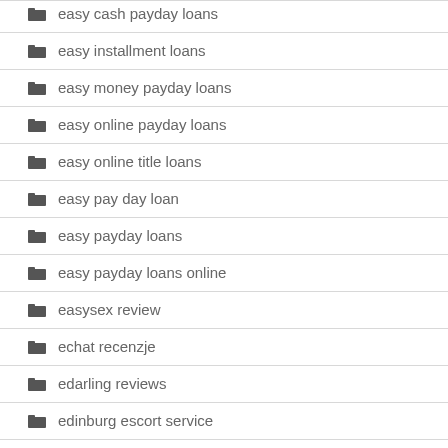easy cash payday loans
easy installment loans
easy money payday loans
easy online payday loans
easy online title loans
easy pay day loan
easy payday loans
easy payday loans online
easysex review
echat recenzje
edarling reviews
edinburg escort service